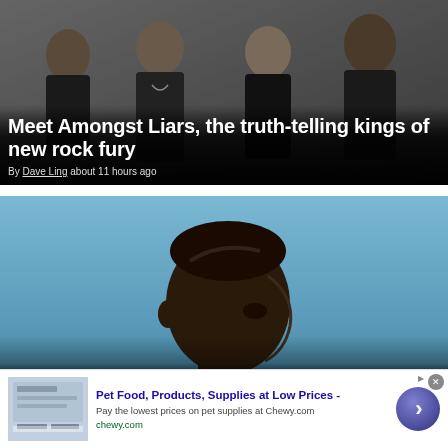[Figure (photo): Group of four young men in dark clothing posed against a stone/concrete wall background — band photo for Amongst Liars]
Meet Amongst Liars, the truth-telling kings of new rock fury
By Dave Ling about 11 hours ago
[Figure (photo): Close-up portrait of Fantastic Negrito — a Black man with closely cropped hair, photographed in profile against a blue sky background]
Fantastic Negrito: the soundtrack of
Pet Food, Products, Supplies at Low Prices - Pay the lowest prices on pet supplies at Chewy.com chewy.com